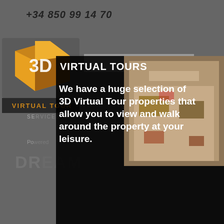+34 850 99 14 70
[Figure (logo): 3D Virtual Tour logo - gold/yellow 3D cube with '3D' text and 'VIRTUAL TOUR' beneath]
[Figure (screenshot): Modal popup overlay with dark semi-transparent background showing 'VIRTUAL TOURS' heading and descriptive text about 3D Virtual Tour properties, with interior photo on right side and orange 'OUR VIRTUAL TOURS' button]
VIRTUAL TOURS
We have a huge selection of 3D Virtual Tour properties that allow you to view and walk around the property at your leisure.
OUR VIRTUAL TOURS
+44 113 868 0215
+34 850 99 14 70
+34 607 87 67 13